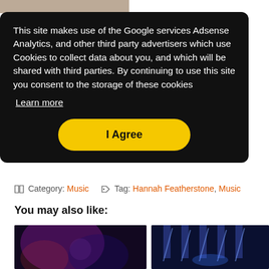[Figure (photo): Partial top image visible at top of page, cropped]
This site makes use of the Google services Adsense Analytics, and other third party advertisers which use Cookies to collect data about you, and which will be shared with third parties. By continuing to use this site you consent to the storage of these cookies
Learn more
I Agree
Category: Music   Tag: Hannah Featherstone, Music
You may also like:
[Figure (photo): Concert photo with purple/pink lighting, drummer visible]
[Figure (photo): Concert photo with blue stage lighting, performer on stage]